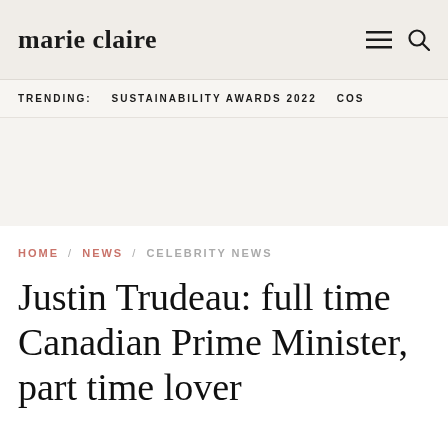marie claire
TRENDING: SUSTAINABILITY AWARDS 2022 COS
HOME / NEWS / CELEBRITY NEWS
Justin Trudeau: full time Canadian Prime Minister, part time lover